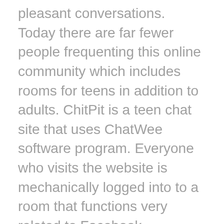pleasant conversations. Today there are far fewer people frequenting this online community which includes rooms for teens in addition to adults. ChitPit is a teen chat site that uses ChatWee software program. Everyone who visits the website is mechanically logged into to a room that functions very related to Facebook messenger. UKChat is obviously UK based mostly, however there are a fair number of chatters from different English talking countries such because the United States and Canada. UKChat runs latest model of Stelivo chat which implies it is cellular friendly and webcam enabled.